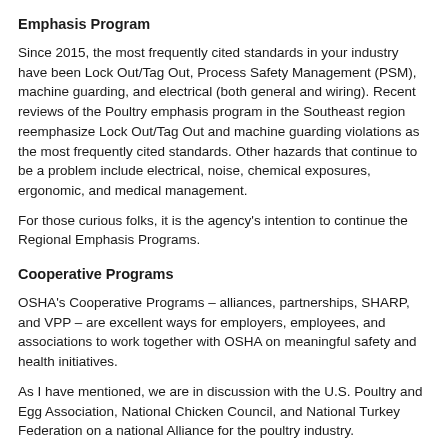Emphasis Program
Since 2015, the most frequently cited standards in your industry have been Lock Out/Tag Out, Process Safety Management (PSM), machine guarding, and electrical (both general and wiring). Recent reviews of the Poultry emphasis program in the Southeast region reemphasize Lock Out/Tag Out and machine guarding violations as the most frequently cited standards. Other hazards that continue to be a problem include electrical, noise, chemical exposures, ergonomic, and medical management.
For those curious folks, it is the agency's intention to continue the Regional Emphasis Programs.
Cooperative Programs
OSHA's Cooperative Programs – alliances, partnerships, SHARP, and VPP – are excellent ways for employers, employees, and associations to work together with OSHA on meaningful safety and health initiatives.
As I have mentioned, we are in discussion with the U.S. Poultry and Egg Association, National Chicken Council, and National Turkey Federation on a national Alliance for the poultry industry.
OSHA previously had an Alliance with the National Chicken Council